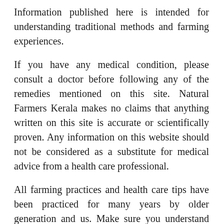Information published here is intended for understanding traditional methods and farming experiences.
If you have any medical condition, please consult a doctor before following any of the remedies mentioned on this site. Natural Farmers Kerala makes no claims that anything written on this site is accurate or scientifically proven. Any information on this website should not be considered as a substitute for medical advice from a health care professional.
All farming practices and health care tips have been practiced for many years by older generation and us. Make sure you understand the whole thing, work accordingly and make sure all the ingredients are unadulterated. Natural ways can be harmful if used wrongly.
Readers are advised to do their own research and make decisions in partnership with their service provider.